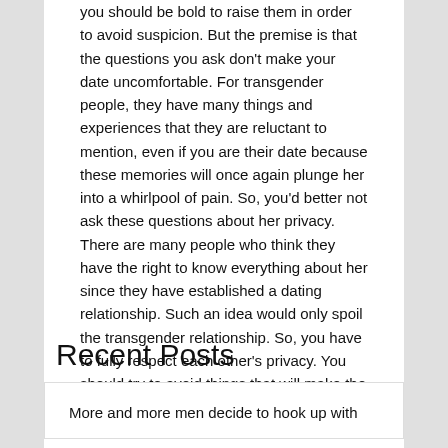you should be bold to raise them in order to avoid suspicion. But the premise is that the questions you ask don't make your date uncomfortable. For transgender people, they have many things and experiences that they are reluctant to mention, even if you are their date because these memories will once again plunge her into a whirlpool of pain. So, you'd better not ask these questions about her privacy. There are many people who think they have the right to know everything about her since they have established a dating relationship. Such an idea would only spoil the transgender relationship. So, you have to fully respect each other's privacy. You should try to avoid things that will make the other person feel embarrassed or uncomfortable.
Recent Posts
More and more men decide to hook up with